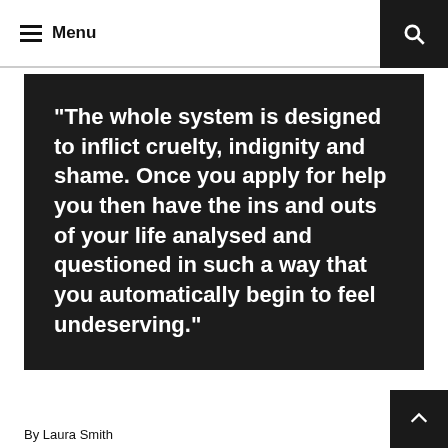≡ Menu
“The whole system is designed to inflict cruelty, indignity and shame. Once you apply for help you then have the ins and outs of your life analysed and questioned in such a way that you automatically begin to feel undeserving.”
By Laura Smith